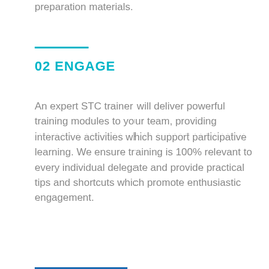preparation materials.
02 ENGAGE
An expert STC trainer will deliver powerful training modules to your team, providing interactive activities which support participative learning. We ensure training is 100% relevant to every individual delegate and provide practical tips and shortcuts which promote enthusiastic engagement.